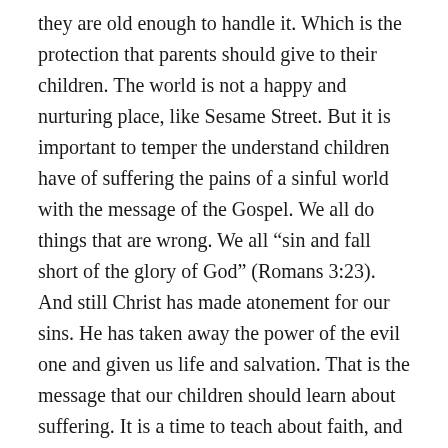they are old enough to handle it. Which is the protection that parents should give to their children. The world is not a happy and nurturing place, like Sesame Street. But it is important to temper the understand children have of suffering the pains of a sinful world with the message of the Gospel. We all do things that are wrong. We all “sin and fall short of the glory of God” (Romans 3:23). And still Christ has made atonement for our sins. He has taken away the power of the evil one and given us life and salvation. That is the message that our children should learn about suffering. It is a time to teach about faith, and to build faith in a child through the Word. “Suffering produces perseverance, perseverance produces character, and character produces hope” (Romans 5:3-4). And that hope is the faith we have in our Lord Jesus, who has taken away the suffering of this life by His suffering on the cross.